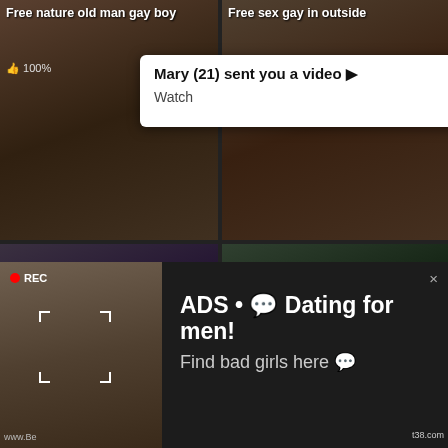Free nature old man gay boy
Free sex gay in outside
Mary (21) sent you a video ▶
Watch
Mary (21) sent you a video ▶
Watch
👍 100%
LIVE
Filipino
👍 80% / 👁 298 840 / ⏱ 8:00
👍 90% / 👁 795 716 / ⏱ 7:00
ADS
Angel is typing ... 💬
(1) unread message
ADS • 💬 Dating for men!
Find bad girls here 💬
REC
www.Be
t38.com